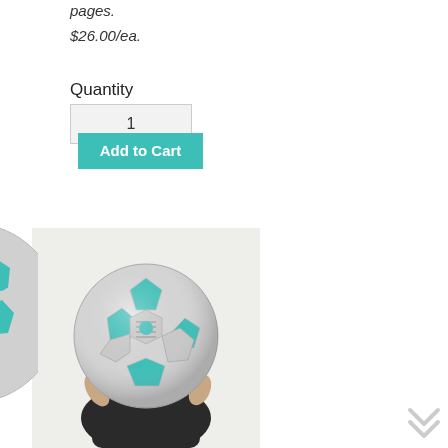pages.
$26.00/ea.
Quantity
1
Add to Cart
[Figure (photo): Hand holding a soccer ball with teal and silver panels, shown from bottom-left portion of page]